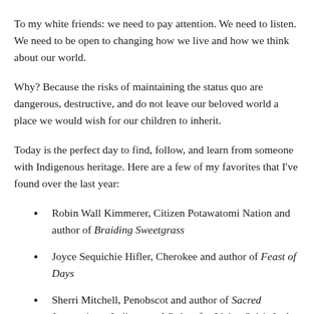To my white friends: we need to pay attention. We need to listen. We need to be open to changing how we live and how we think about our world.
Why? Because the risks of maintaining the status quo are dangerous, destructive, and do not leave our beloved world a place we would wish for our children to inherit.
Today is the perfect day to find, follow, and learn from someone with Indigenous heritage. Here are a few of my favorites that I've found over the last year:
Robin Wall Kimmerer, Citizen Potawatomi Nation and author of Braiding Sweetgrass
Joyce Sequichie Hifler, Cherokee and author of Feast of Days
Sherri Mitchell, Penobscot and author of Sacred Instructions: Indigenous Wisdom for Living Spirit-Led